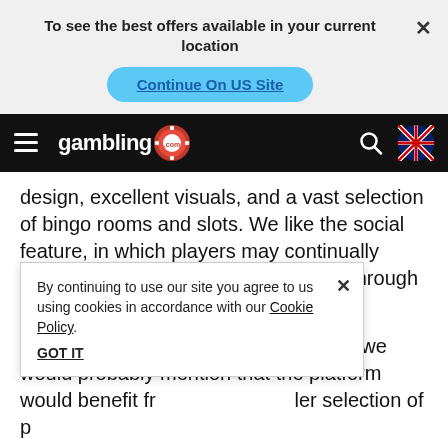To see the best offers available in your current location
Continue On US Site
gambling.com navigation bar
design, excellent visuals, and a vast selection of bingo rooms and slots. We like the social feature, in which players may continually connect with other players and hosts through the available in-game chats.
If we had to touch on a few negatives, we would probably mention that the platform would benefit fr... ler selection of p...
A... e is straightforward. UK players can expect a swift
By continuing to use our site you agree to us using cookies in accordance with our Cookie Policy.
GOT IT